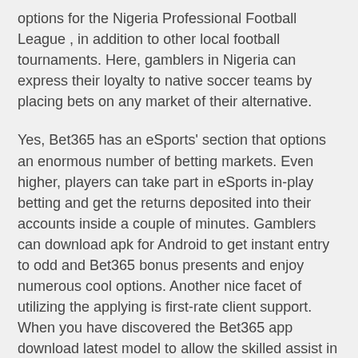options for the Nigeria Professional Football League , in addition to other local football tournaments. Here, gamblers in Nigeria can express their loyalty to native soccer teams by placing bets on any market of their alternative.
Yes, Bet365 has an eSports' section that options an enormous number of betting markets. Even higher, players can take part in eSports in-play betting and get the returns deposited into their accounts inside a couple of minutes. Gamblers can download apk for Android to get instant entry to odd and Bet365 bonus presents and enjoy numerous cool options. Another nice facet of utilizing the applying is first-rate client support. When you have discovered the Bet365 app download latest model to allow the skilled assist in any state of affairs possible.
With the help of bonus funds, you can increase the present account steadiness, which is particularly convenient for users who can not afford to make a large deposition the present account. Moreover, the...